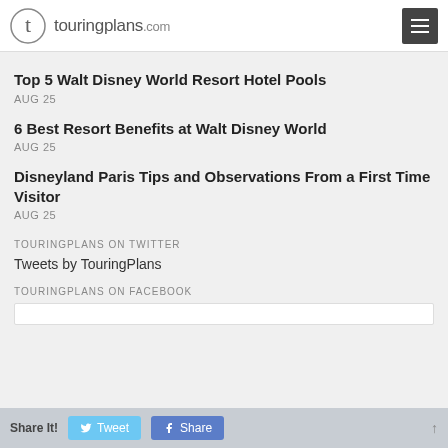touringplans.com
Top 5 Walt Disney World Resort Hotel Pools
AUG 25
6 Best Resort Benefits at Walt Disney World
AUG 25
Disneyland Paris Tips and Observations From a First Time Visitor
AUG 25
TOURINGPLANS ON TWITTER
Tweets by TouringPlans
TOURINGPLANS ON FACEBOOK
Share It! Tweet Share